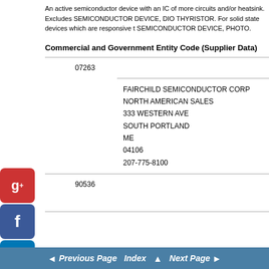An active semiconductor device with an IC of more circuits and/or heatsink. Excludes SEMICONDUCTOR DEVICE, DIODE, THYRISTOR. For solid state devices which are responsive to SEMICONDUCTOR DEVICE, PHOTO.
Commercial and Government Entity Code (Supplier Data)
07263
FAIRCHILD SEMICONDUCTOR CORP
NORTH AMERICAN SALES
333 WESTERN AVE
SOUTH PORTLAND
ME
04106
207-775-8100
90536
Previous Page  Index  Next Page